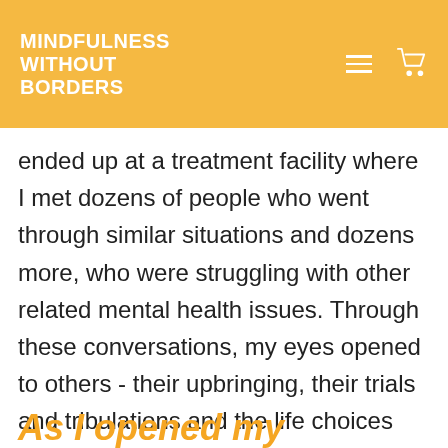MINDFULNESS WITHOUT BORDERS
ended up at a treatment facility where I met dozens of people who went through similar situations and dozens more, who were struggling with other related mental health issues. Through these conversations, my eyes opened to others - their upbringing, their trials and tribulations and the life choices that they made to survive.
As I opened my